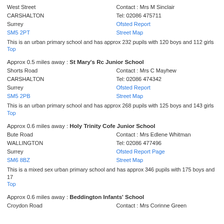West Street
CARSHALTON
Surrey
SM5 2PT
Contact : Mrs M Sinclair
Tel: 02086 475711
Ofsted Report
Street Map
This is an urban primary school and has approx 232 pupils with 120 boys and 112 girls
Top
Approx 0.5 miles away : St Mary's Rc Junior School
Shorts Road
CARSHALTON
Surrey
SM5 2PB
Contact : Mrs C Mayhew
Tel: 02086 474342
Ofsted Report
Street Map
This is an urban primary school and has approx 268 pupils with 125 boys and 143 girls
Top
Approx 0.6 miles away : Holy Trinity Cofe Junior School
Bute Road
WALLINGTON
Surrey
SM6 8BZ
Contact : Mrs Edlene Whitman
Tel: 02086 477496
Ofsted Report Page
Street Map
This is a mixed sex urban primary school and has approx 346 pupils with 175 boys and 17
Top
Approx 0.6 miles away : Beddington Infants' School
Croydon Road
Contact : Mrs Corinne Green